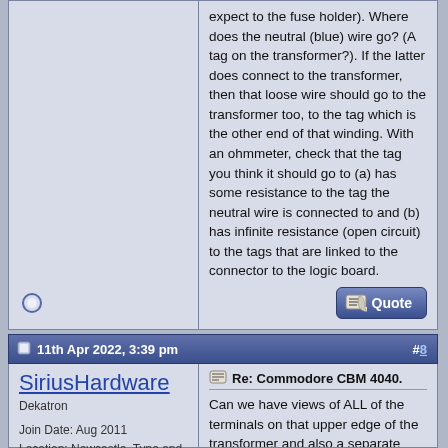expect to the fuse holder). Where does the neutral (blue) wire go? (A tag on the transformer?). If the latter does connect to the transformer, then that loose wire should go to the transformer too, to the tag which is the other end of that winding. With an ohmmeter, check that the tag you think it should go to (a) has some resistance to the tag the neutral wire is connected to and (b) has infinite resistance (open circuit) to the tags that are linked to the connector to the logic board.
11th Apr 2022, 3:39 pm
#8
SiriusHardware
Dekatron

Join Date: Aug 2011
Location: Newcastle, Tyne and Wear, UK.
Posts: 8,663
Re: Commodore CBM 4040.
Can we have views of ALL of the terminals on that upper edge of the transformer and also a separate clear view of the label which is underneath the terminals? One possible pitfall here is that the transformer